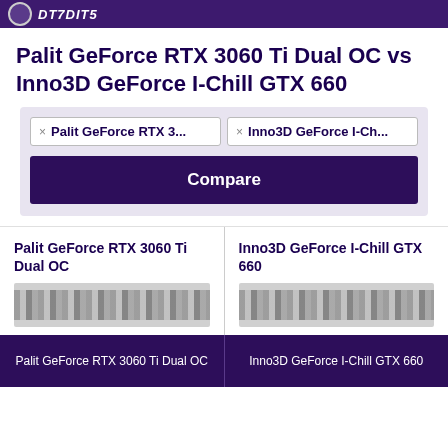DT7DIT5
Palit GeForce RTX 3060 Ti Dual OC vs Inno3D GeForce I-Chill GTX 660
× Palit GeForce RTX 3... × Inno3D GeForce I-Ch...
Compare
Palit GeForce RTX 3060 Ti Dual OC
Inno3D GeForce I-Chill GTX 660
Palit GeForce RTX 3060 Ti Dual OC | Inno3D GeForce I-Chill GTX 660